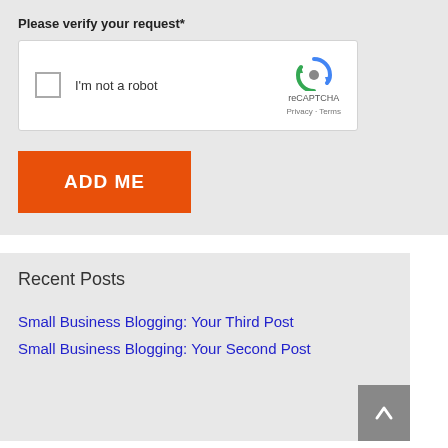Please verify your request*
[Figure (screenshot): reCAPTCHA widget with checkbox labeled 'I'm not a robot' and reCAPTCHA logo with Privacy and Terms links]
ADD ME
Recent Posts
Small Business Blogging: Your Third Post
Small Business Blogging: Your Second Post